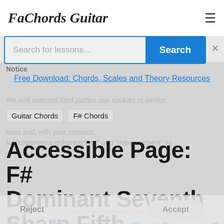FaChords Guitar
Search for lessons...
Search
Notice
Free Download: Chords, Scales and Theory Resources
We and selected third parties use cookies or similar
Guitar Chords   F# Chords
oses and, with your consent,
for "experience enhancement" and "measurement" as
Accessible Page: F# Dominant Seventh Sharp Fifth Guitar Chord Charts & Variations
In case of sale of your personal information, you may opt out
Chord Diagrams in Text Format For Blind and Visually Impaired People